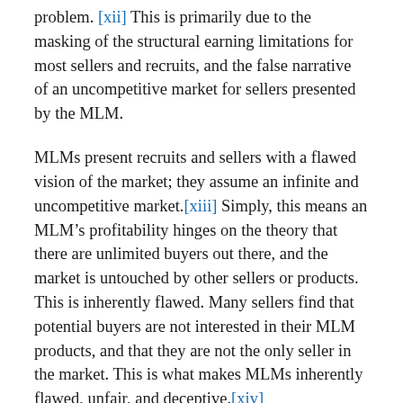problem. [xii] This is primarily due to the masking of the structural earning limitations for most sellers and recruits, and the false narrative of an uncompetitive market for sellers presented by the MLM.
MLMs present recruits and sellers with a flawed vision of the market; they assume an infinite and uncompetitive market.[xiii] Simply, this means an MLM's profitability hinges on the theory that there are unlimited buyers out there, and the market is untouched by other sellers or products. This is inherently flawed. Many sellers find that potential buyers are not interested in their MLM products, and that they are not the only seller in the market. This is what makes MLMs inherently flawed, unfair, and deceptive.[xiv]
MLMs present structural limitation which suppress earnings and make profitability near-impossible for recruits and sellers. Because profits and commission fees travel disproportionately up the MLM pyramid, most